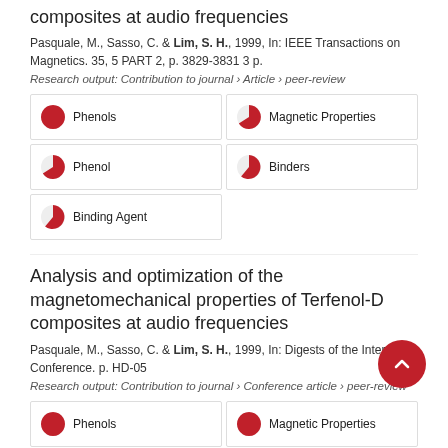composites at audio frequencies
Pasquale, M., Sasso, C. & Lim, S. H., 1999, In: IEEE Transactions on Magnetics. 35, 5 PART 2, p. 3829-3831 3 p.
Research output: Contribution to journal › Article › peer-review
[Figure (infographic): Keyword badges with pie chart indicators: Phenols (100%), Magnetic Properties (~70%), Phenol (~70%), Binders (~55%), Binding Agent (~55%)]
Analysis and optimization of the magnetomechanical properties of Terfenol-D composites at audio frequencies
Pasquale, M., Sasso, C. & Lim, S. H., 1999, In: Digests of the Intermag Conference. p. HD-05
Research output: Contribution to journal › Conference article › peer-review
[Figure (infographic): Keyword badges with pie chart indicators: Phenols (100%), Magnetic Properties (100%)]